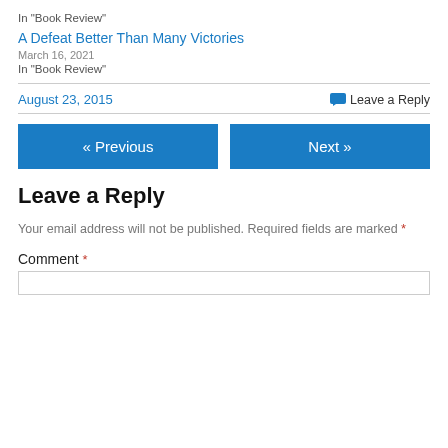In "Book Review"
A Defeat Better Than Many Victories
March 16, 2021
In "Book Review"
August 23, 2015
Leave a Reply
« Previous
Next »
Leave a Reply
Your email address will not be published. Required fields are marked *
Comment *